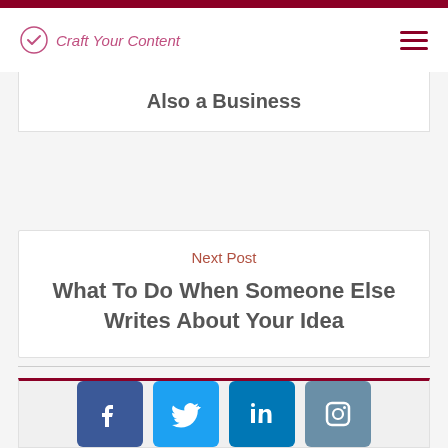Craft Your Content
Also a Business
Next Post
What To Do When Someone Else Writes About Your Idea
[Figure (infographic): Social media share icons: Facebook, Twitter, LinkedIn, Instagram]